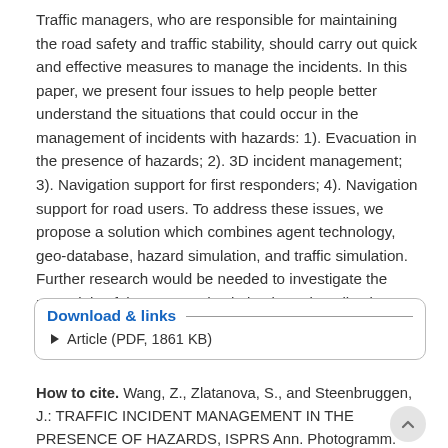Traffic managers, who are responsible for maintaining the road safety and traffic stability, should carry out quick and effective measures to manage the incidents. In this paper, we present four issues to help people better understand the situations that could occur in the management of incidents with hazards: 1). Evacuation in the presence of hazards; 2). 3D incident management; 3). Navigation support for first responders; 4). Navigation support for road users. To address these issues, we propose a solution which combines agent technology, geo-database, hazard simulation, and traffic simulation. Further research would be needed to investigate the potentials of the proposed solution in real applications.
Download & links
Article (PDF, 1861 KB)
How to cite. Wang, Z., Zlatanova, S., and Steenbruggen, J.: TRAFFIC INCIDENT MANAGEMENT IN THE PRESENCE OF HAZARDS, ISPRS Ann. Photogramm. Remote Sens. Spatial Inf. Sci., IV-4/W1, 45–49, https://doi.org/10.5194/isprs-annals-IV-4-